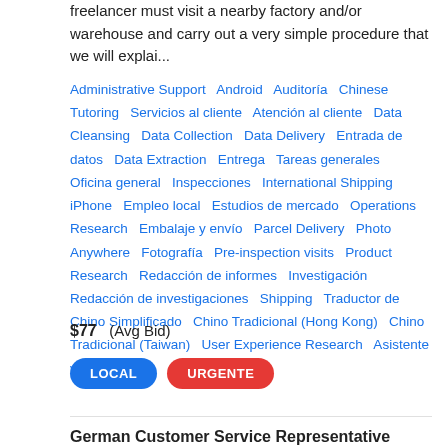freelancer must visit a nearby factory and/or warehouse and carry out a very simple procedure that we will explai...
Administrative Support  Android  Auditoría  Chinese Tutoring  Servicios al cliente  Atención al cliente  Data Cleansing  Data Collection  Data Delivery  Entrada de datos  Data Extraction  Entrega  Tareas generales  Oficina general  Inspecciones  International Shipping  iPhone  Empleo local  Estudios de mercado  Operations Research  Embalaje y envío  Parcel Delivery  Photo Anywhere  Fotografía  Pre-inspection visits  Product Research  Redacción de informes  Investigación  Redacción de investigaciones  Shipping  Traductor de Chino Simplificado  Chino Tradicional (Hong Kong)  Chino Tradicional (Taiwan)  User Experience Research  Asistente virtual
$77  (Avg Bid)
LOCAL  URGENTE
German Customer Service Representative